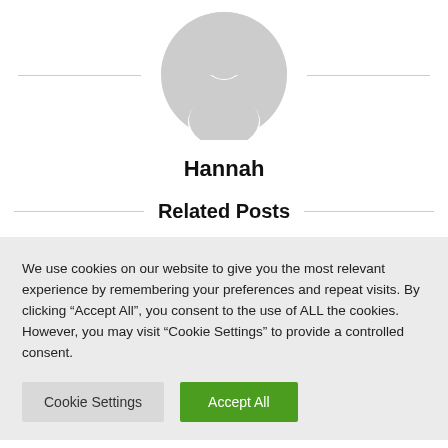[Figure (illustration): Generic avatar/person silhouette icon in light grey, circular shape, with horizontal lines on left and right sides]
Hannah
Related Posts
We use cookies on our website to give you the most relevant experience by remembering your preferences and repeat visits. By clicking “Accept All”, you consent to the use of ALL the cookies. However, you may visit "Cookie Settings" to provide a controlled consent.
Cookie Settings | Accept All